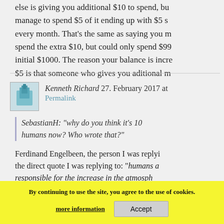else is giving you additional $10 to spend, but manage to spend $5 of it ending up with $5 su every month. That's the same as saying you m spend the extra $10, but could only spend $99 initial $1000. The reason your balance is incre $5 is that someone who gives you aditional m
Kenneth Richard 27. February 2017 at
Permalink
SebastianH: "why do you think it's 10 humans now? Who wrote that?"
Ferdinand Engelbeen, the person I was replyin the direct quote I was replying to: "humans a responsible for the increase in the atmospher due ses sink for CO2 and i contribution is negative"
By continuing to use the site, you agree to the use of cookies.
more information   Accept